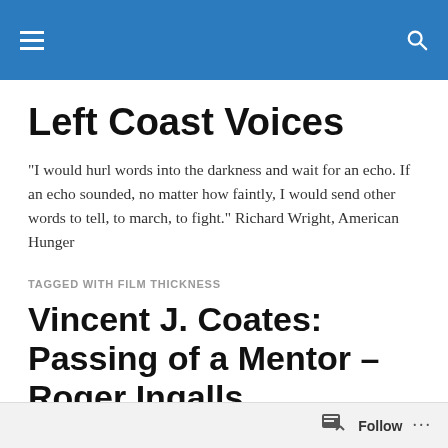Left Coast Voices — site navigation header
Left Coast Voices
"I would hurl words into the darkness and wait for an echo. If an echo sounded, no matter how faintly, I would send other words to tell, to march, to fight." Richard Wright, American Hunger
TAGGED WITH FILM THICKNESS
Vincent J. Coates: Passing of a Mentor – Roger Ingalls
Monday was a sad day. A former co-work informed me via
Follow